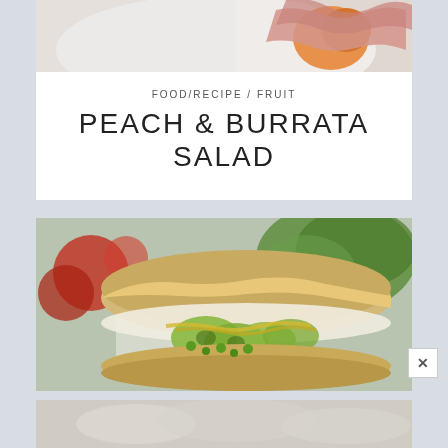[Figure (photo): Partial food photo at top of first card showing prosciutto/ham and fruit (peach)]
FOOD/RECIPE / FRUIT
PEACH & BURRATA SALAD
[Figure (photo): Close-up photo of a sandwich or flatbread with avocado slices and other fillings, on a plate with tomatoes and greens in background]
[Figure (photo): Partial bottom card showing a food photo with white/light colored food items]